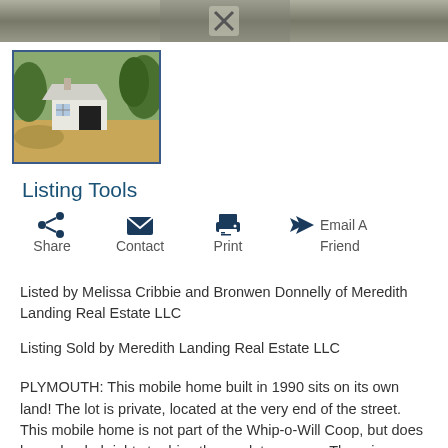[Figure (photo): Top partial photo of a driveway/road with an X close icon overlay]
[Figure (photo): Thumbnail photo of a small white building/garage with an open dark doorway surrounded by green trees and sandy driveway]
Listing Tools
Share  Contact  Print  Email A Friend
Listed by Melissa Cribbie and Bronwen Donnelly of Meredith Landing Real Estate LLC
Listing Sold by Meredith Landing Real Estate LLC
PLYMOUTH: This mobile home built in 1990 sits on its own land! The lot is private, located at the very end of the street. This mobile home is not part of the Whip-o-Will Coop, but does have deeded rights to drive thru park to access. There is private septic and well, but the well will have to be